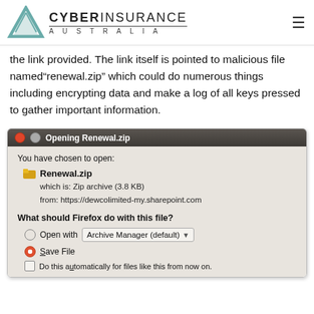CYBER INSURANCE AUSTRALIA
the link provided. The link itself is pointed to malicious file named“renewal.zip” which could do numerous things including encrypting data and make a log of all keys pressed to gather important information.
[Figure (screenshot): A Firefox browser dialog box titled 'Opening Renewal.zip'. It shows: 'You have chosen to open: Renewal.zip which is: Zip archive (3.8 KB) from: https://dewcolimited-my.sharepoint.com'. The question 'What should Firefox do with this file?' is shown with radio buttons for 'Open with Archive Manager (default)' and 'Save File' (selected). There is also a checkbox for 'Do this automatically for files like this from now on.']